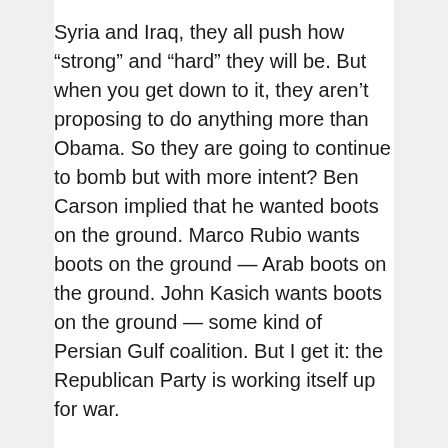Syria and Iraq, they all push how “strong” and “hard” they will be. But when you get down to it, they aren’t proposing to do anything more than Obama. So they are going to continue to bomb but with more intent? Ben Carson implied that he wanted boots on the ground. Marco Rubio wants boots on the ground — Arab boots on the ground. John Kasich wants boots on the ground — some kind of Persian Gulf coalition. But I get it: the Republican Party is working itself up for war.
The reason I know this is because my father told me that he thought we needed to send ground troops into the conflict. Charles Krauthammer must think this. I know because my father also has no clue why we should send ground troops in. I questioned him about it. Does he think that